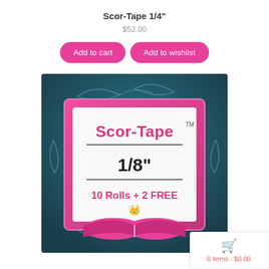Scor-Tape 1/4"
$52.00
[Figure (screenshot): Product page with two pink rounded buttons: 'Add to cart' and 'Add to wishlist']
[Figure (photo): Product image showing Scor-Tape brand packaging with teal/blue background, pink decorative frame, text reading 'Scor-Tape TM', '1/8"', '10 Rolls + 2 FREE', and an open book with crown logo at bottom]
0 items - $0.00